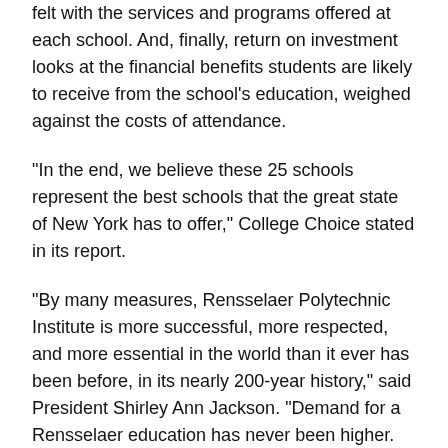satisfaction measures how satisfied current and former students felt with the services and programs offered at each school. And, finally, return on investment looks at the financial benefits students are likely to receive from the school's education, weighed against the costs of attendance.
“In the end, we believe these 25 schools represent the best schools that the great state of New York has to offer,” College Choice stated in its report.
“By many measures, Rensselaer Polytechnic Institute is more successful, more respected, and more essential in the world than it ever has been before, in its nearly 200-year history,” said President Shirley Ann Jackson. “Demand for a Rensselaer education has never been higher. Outcomes for our students are excellent, in terms of graduation and retention rates, the high salaries they command, the outstanding graduate schools they attend, the companies they start, the military leadership